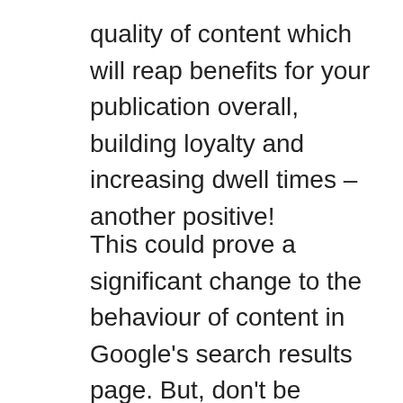quality of content which will reap benefits for your publication overall, building loyalty and increasing dwell times – another positive!
This could prove a significant change to the behaviour of content in Google's search results page. But, don't be intimidated. For publications which already devote